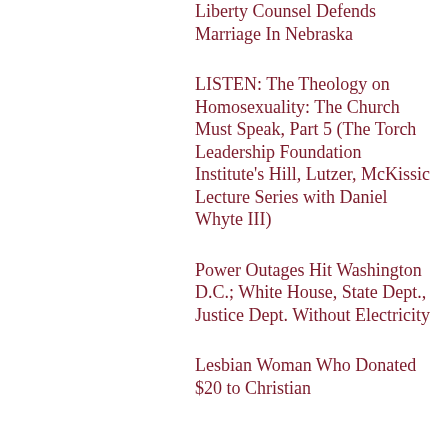Liberty Counsel Defends Marriage In Nebraska
LISTEN: The Theology on Homosexuality: The Church Must Speak, Part 5 (The Torch Leadership Foundation Institute's Hill, Lutzer, McKissic Lecture Series with Daniel Whyte III)
Power Outages Hit Washington D.C.; White House, State Dept., Justice Dept. Without Electricity
Lesbian Woman Who Donated $20 to Christian